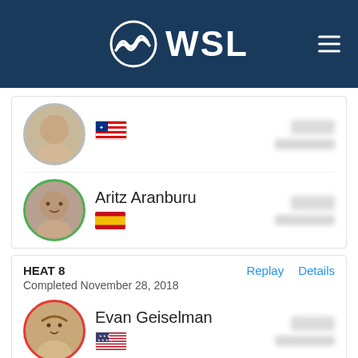[Figure (logo): WSL (World Surf League) logo with wave icon in white on dark blue header bar, with hamburger menu icon on right]
Aritz Aranburu
HEAT 8
Completed November 28, 2018
Evan Geiselman
Matthew McGillivray
Noa Mizuno